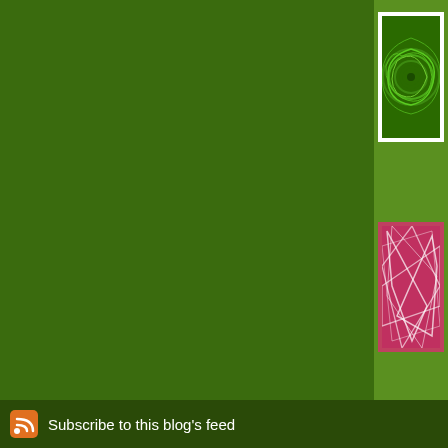[Figure (screenshot): Blog page screenshot with dark green background. Right sidebar shows two thumbnail images (green swirl pattern and pink abstract pattern) with partial text links beside them. Below is a 'The comments to t...' bar. Further down is a 'Coconut Cream C...' recipe box with text about 'hate me for this o...' and 'friend Terri Phillips...'. Footer bar at bottom with RSS icon and 'Subscribe to this blog's feed' link.]
Tou girl
Tha
The comments to t
P
Coconut Cream C hate me for this o friend Terri Phillips
Subscribe to this blog's feed